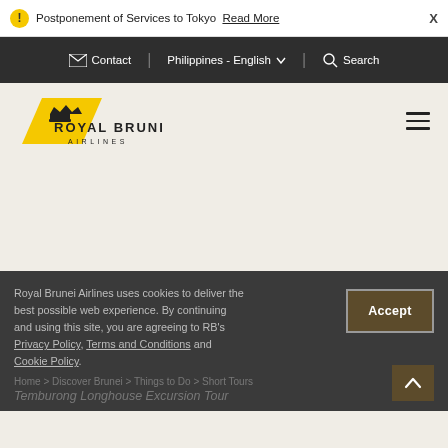⚠ Postponement of Services to Tokyo  Read More  X
Contact  Philippines - English  Search
[Figure (logo): Royal Brunei Airlines logo with yellow chevron and crown icon]
Royal Brunei Airlines uses cookies to deliver the best possible web experience. By continuing and using this site, you are agreeing to RB's Privacy Policy, Terms and Conditions and Cookie Policy.
Accept
Home > Discover Brunei > Things to Do > Short Tours
Temburong Longhouse Excursion Tour